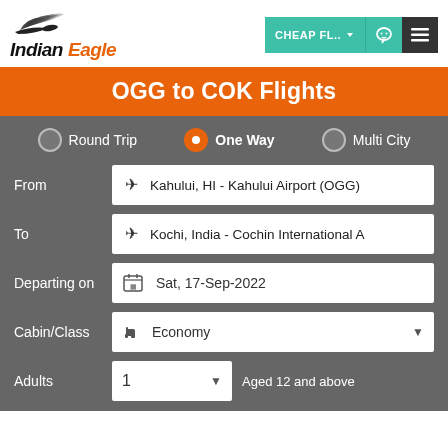[Figure (logo): Indian Eagle logo with bird silhouette and stylized text in black and orange]
OGG to COK Flights
Round Trip | One Way (selected) | Multi City
From: Kahului, HI - Kahului Airport (OGG)
To: Kochi, India - Cochin International A
Departing on: Sat, 17-Sep-2022
Cabin/Class: Economy
Adults: 1   Aged 12 and above